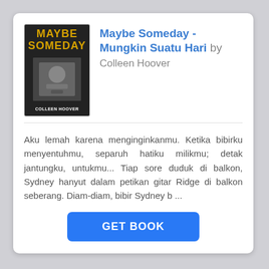[Figure (illustration): Book cover of 'Maybe Someday - Mungkin Suatu Hari' by Colleen Hoover, showing dark background with title text and author name.]
Maybe Someday - Mungkin Suatu Hari by Colleen Hoover
Aku lemah karena menginginkanmu. Ketika bibirku menyentuhmu, separuh hatiku milikmu; detak jantungku, untukmu... Tiap sore duduk di balkon, Sydney hanyut dalam petikan gitar Ridge di balkon seberang. Diam-diam, bibir Sydney b ...